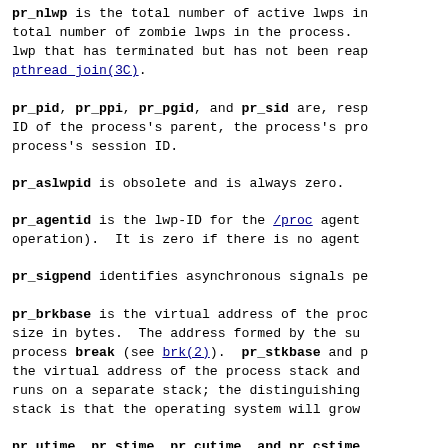pr_nlwp is the total number of active lwps in the total number of zombie lwps in the process. lwp that has terminated but has not been reaped pthread_join(3C).
pr_pid, pr_ppi, pr_pgid, and pr_sid are, respectively the ID of the process's parent, the process's process group ID, and the process's session ID.
pr_aslwpid is obsolete and is always zero.
pr_agentid is the lwp-ID for the /proc agent lwp (for PCAGENT operation). It is zero if there is no agent lwp.
pr_sigpend identifies asynchronous signals pending for the process.
pr_brkbase is the virtual address of the process heap and pr_brksize is the size in bytes. The address formed by the sum of these is the current process break (see brk(2)). pr_stkbase and pr_stksize give the virtual address of the process stack and its size. Each lwp runs on a separate stack; the distinguishing feature of the main-thread stack is that the operating system will grow it automatically.
pr_utime, pr_stime, pr_cutime, and pr_cstime are respectively the user CPU and system CPU time consumed by the process and the user CPU and system CPU time consumed by the process's waited-for children, in nanoseconds.